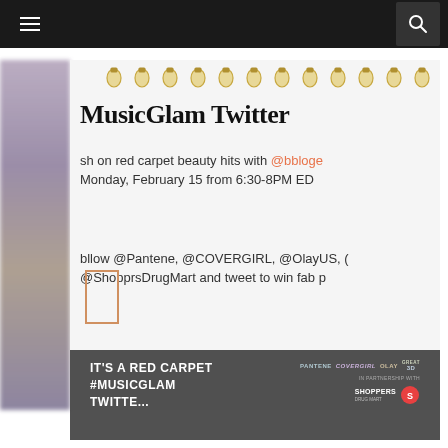Navigation bar with hamburger menu and search icon
[Figure (screenshot): Screenshot of a MusicGlam Twitter card/event promotion showing a red carpet beauty Twitter party with @bblogg, Monday February 15 from 6:30-8PM EDT, follow @Pantene, @COVERGIRL, @OlayUS, @ShopprsDrugMart and tweet to win fab prizes. Sponsored by Pantene, CoverGirl, Olay, Crest 3D, and Shoppers Drug Mart.]
IT'S A RED CARPET #MUSICGLAM TWITTE...